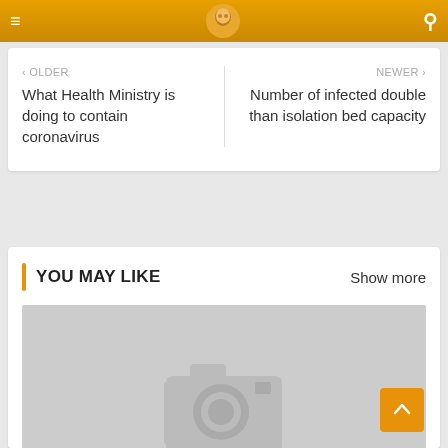Navigation bar with menu icon, logo, and search icon
‹ OLDER
What Health Ministry is doing to contain coronavirus
NEWER ›
Number of infected double than isolation bed capacity
YOU MAY LIKE
Show more
[Figure (photo): Placeholder image with camera icon on grey background]